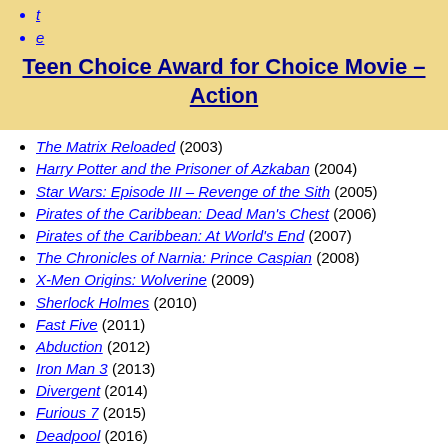t
e
Teen Choice Award for Choice Movie – Action
The Matrix Reloaded (2003)
Harry Potter and the Prisoner of Azkaban (2004)
Star Wars: Episode III – Revenge of the Sith (2005)
Pirates of the Caribbean: Dead Man's Chest (2006)
Pirates of the Caribbean: At World's End (2007)
The Chronicles of Narnia: Prince Caspian (2008)
X-Men Origins: Wolverine (2009)
Sherlock Holmes (2010)
Fast Five (2011)
Abduction (2012)
Iron Man 3 (2013)
Divergent (2014)
Furious 7 (2015)
Deadpool (2016)
Wonder Woman (2017)
Avengers: Infinity War (2018)
Avengers: Endgame (2019)
More
Portals: